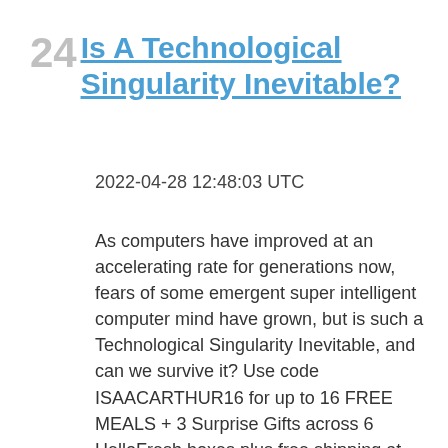24 Is A Technological Singularity Inevitable?
2022-04-28 12:48:03 UTC
As computers have improved at an accelerating rate for generations now, fears of some emergent super intelligent computer mind have grown, but is such a Technological Singularity Inevitable, and can we survive it? Use code ISAACARTHUR16 for up to 16 FREE MEALS + 3 Surprise Gifts across 6 HelloFresh boxes plus free shipping at https://bit.ly/3uRoKz7 Watch the Video Version: https://youtu.be/px9RylKixHo Visit our Website: http://www.isaacarthur.net Support us on Patreon: https://www.patreon.com/IsaacArthur Support us on Subscribestar: https://www.subscribestar.com/isaac-